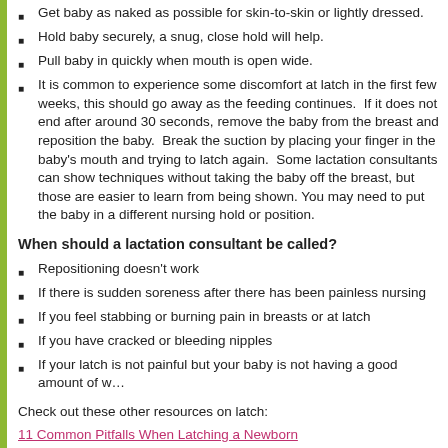Get baby as naked as possible for skin-to-skin or lightly dressed.
Hold baby securely, a snug, close hold will help.
Pull baby in quickly when mouth is open wide.
It is common to experience some discomfort at latch in the first few weeks, this should go away as the feeding continues.  If it does not end after around 30 seconds, remove the baby from the breast and reposition the baby.  Break the suction by placing your finger in the baby's mouth and trying to latch again.  Some lactation consultants can show techniques without taking the baby off the breast, but those are easier to learn from being shown. You may need to put the baby in a different nursing hold or position.
When should a lactation consultant be called?
Repositioning doesn't work
If there is sudden soreness after there has been painless nursing
If you feel stabbing or burning pain in breasts or at latch
If you have cracked or bleeding nipples
If your latch is not painful but your baby is not having a good amount of wet/dirty diapers
Check out these other resources on latch:
11 Common Pitfalls When Latching a Newborn
Latching and positioning resources